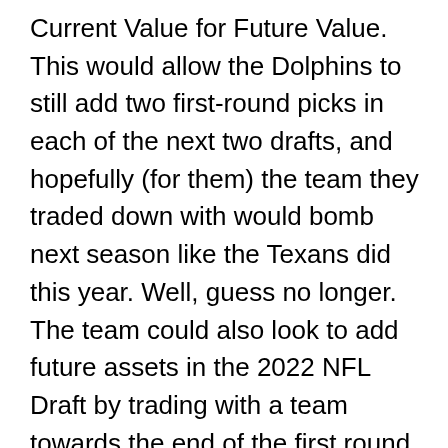Current Value for Future Value. This would allow the Dolphins to still add two first-round picks in each of the next two drafts, and hopefully (for them) the team they traded down with would bomb next season like the Texans did this year. Well, guess no longer. The team could also look to add future assets in the 2022 NFL Draft by trading with a team towards the end of the first round. Fantasy football is no different. Want to know if it is worth trading your number 5 and 25 for the number 1 and 40 picks? Simply fill in the picks, hit the calculate button and let the magic begin. Draft Pick Trading enables Team Managers to trade draft slots, - for example, a team manager might